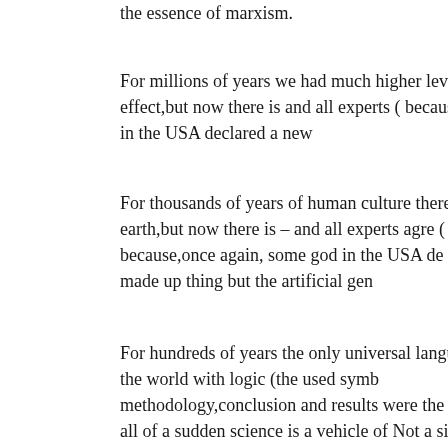the essence of marxism.
For millions of years we had much higher leve runaway effect,but now there is and all experts ( because some god in the USA declared a new
For thousands of years of human culture there on earth,but now there is – and all experts agre ( because,once again, some god in the USA de gender is a made up thing but the artificial gen
For hundreds of years the only universal langu explaining the world with logic (the used symb methodology,conclusion and results were the s but now all of a sudden science is a vehicle of Not a single of thousands of high IQ foreign s realised that white people highjacked,falsified their advantage, (and it seems to the disadvant not even make sense as black women probably